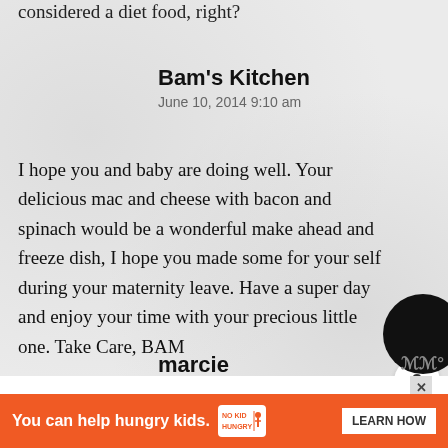considered a diet food, right?
Bam's Kitchen
June 10, 2014 9:10 am
I hope you and baby are doing well. Your delicious mac and cheese with bacon and spinach would be a wonderful make ahead and freeze dish, I hope you made some for your self during your maternity leave. Have a super day and enjoy your time with your precious little one. Take Care, BAM
marcie
June 10, 2014 9:35 am
Th... nd I think ad... erful
[Figure (other): Ad banner: You can help hungry kids. No Kid Hungry. LEARN HOW]